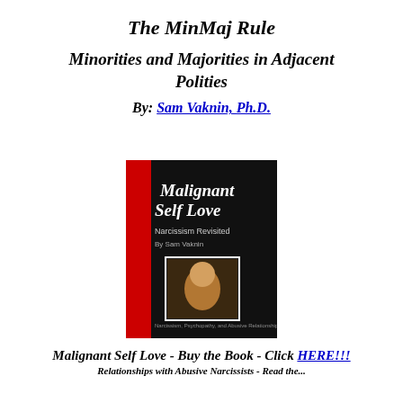The MinMaj Rule
Minorities and Majorities in Adjacent Polities
By: Sam Vaknin, Ph.D.
[Figure (photo): Book cover of 'Malignant Self Love - Narcissism Revisited' by Sam Vaknin, with a dark background showing red spine and an inset photograph.]
Malignant Self Love - Buy the Book - Click HERE!!!
Relationships with Abusive Narcissists - Read the...